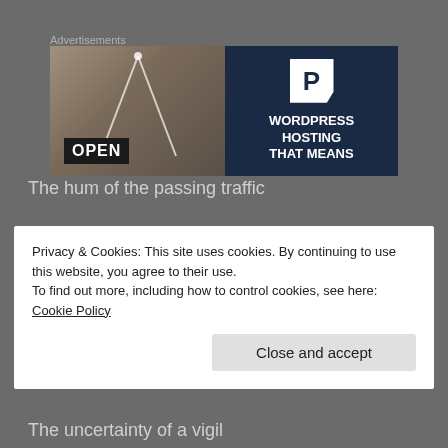Advertisements
[Figure (photo): Advertisement banner for WordPress Hosting. Left half shows a woman smiling and holding an OPEN sign in front of a shop window. Right half is dark navy blue with a P-shaped logo and text reading WORDPRESS HOSTING THAT MEANS.]
The hum of the passing traffic
Privacy & Cookies: This site uses cookies. By continuing to use this website, you agree to their use.
To find out more, including how to control cookies, see here: Cookie Policy
Close and accept
The uncertainty of a vigil